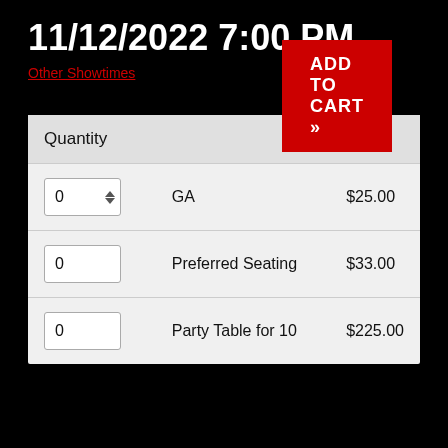11/12/2022 7:00 PM
Other Showtimes
| Quantity |  | Price |
| --- | --- | --- |
| 0 | GA | $25.00 |
| 0 | Preferred Seating | $33.00 |
| 0 | Party Table for 10 | $225.00 |
ADD TO CART »